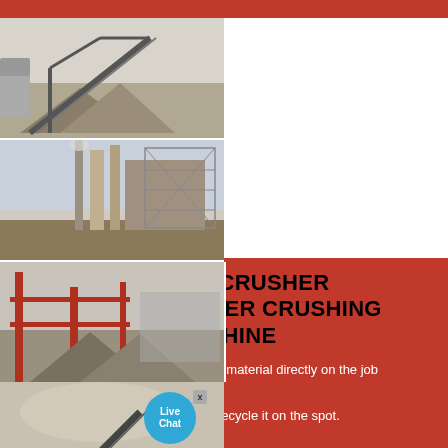[Figure (photo): Four industrial crushing machine site photos in a 2x2 grid. Top-left: conveyor belt and aggregate pile at a mining site. Top-right: large industrial refinery or processing plant structure. Bottom-left: red steel structure with aggregate piles and machinery. Bottom-right: mobile crushing and screening plant with conveyor and dust clouds. A 'Live Chat' circular badge appears over the bottom-right image.]
BUCKET CRUSHER MANUFACTURER CRUSHING MACHINE
Crusher attachments process inert material directly on the job site, allowing you to manage and recycle it on the spot. Discover how easy it"s to crush with ! Crush directly with the